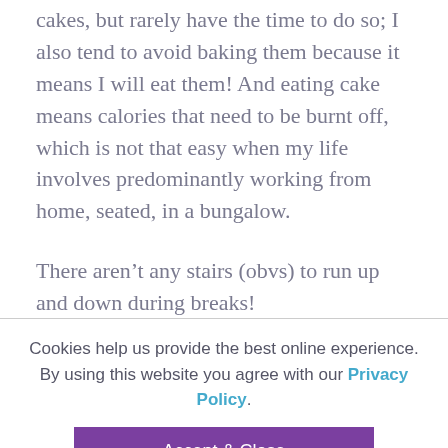cakes, but rarely have the time to do so; I also tend to avoid baking them because it means I will eat them! And eating cake means calories that need to be burnt off, which is not that easy when my life involves predominantly working from home, seated, in a bungalow.
There aren't any stairs (obvs) to run up and down during breaks!
Cookies help us provide the best online experience. By using this website you agree with our Privacy Policy.
Accept & Close